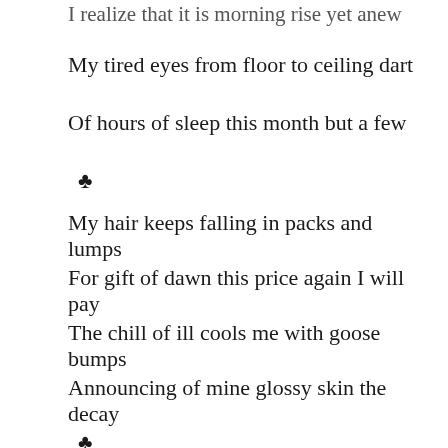I realize that it is morning rise yet anew
My tired eyes from floor to ceiling dart
Of hours of sleep this month but a few
♣
My hair keeps falling in packs and lumps
For gift of dawn this price again I will pay
The chill of ill cools me with goose bumps
Announcing of mine glossy skin the decay
♣
In wake of morning I turn an ashen face